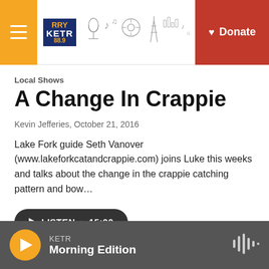KKRY KETR 88.9 FM — Donate
Local Shows
A Change In Crappie
Kevin Jefferies, October 21, 2016
Lake Fork guide Seth Vanover (www.lakeforkcatandcrappie.com) joins Luke this weeks and talks about the change in the crappie catching pattern and bow…
LISTEN • 15:00
KETR Morning Edition